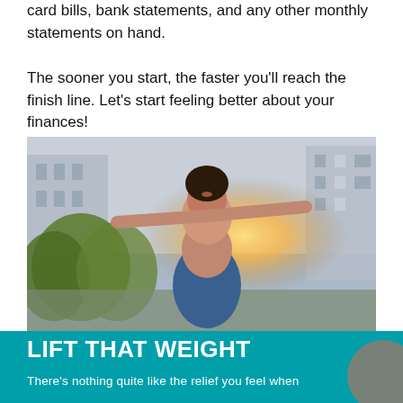card bills, bank statements, and any other monthly statements on hand.
The sooner you start, the faster you'll reach the finish line. Let's start feeling better about your finances!
[Figure (photo): A joyful couple outdoors in an urban setting with golden sunlight; a woman with arms outstretched sitting on a man's back, both laughing and smiling.]
LIFT THAT WEIGHT
There's nothing quite like the relief you feel when